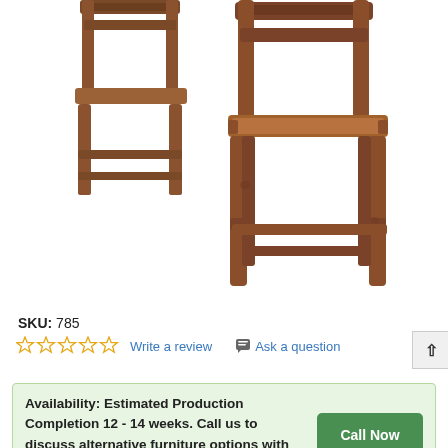[Figure (photo): Two rustic wooden bar stools/chairs with brown seats and stretcher bases, shown against a white background. One stool is shown from the front-side, the other from a slightly different angle showing the back slat.]
SKU:  785
☆☆☆☆☆  Write a review     💬  Ask a question
Availability: Estimated Production Completion 12 - 14 weeks. Call us to discuss alternative furniture options with lower lead times.